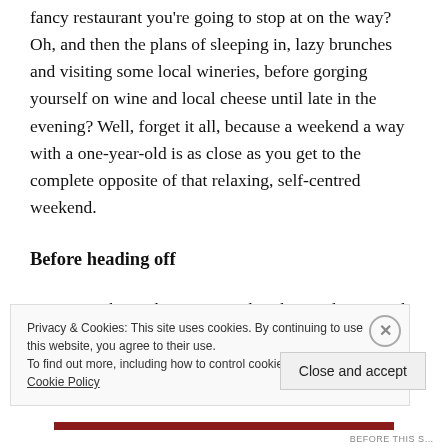fancy restaurant you're going to stop at on the way? Oh, and then the plans of sleeping in, lazy brunches and visiting some local wineries, before gorging yourself on wine and local cheese until late in the evening? Well, forget it all, because a weekend a way with a one-year-old is as close as you get to the complete opposite of that relaxing, self-centred weekend.
Before heading off
First up is the packing. Remember that medium-sized suitcase you used to use for the two of you when you
Privacy & Cookies: This site uses cookies. By continuing to use this website, you agree to their use.
To find out more, including how to control cookies, see here: Cookie Policy